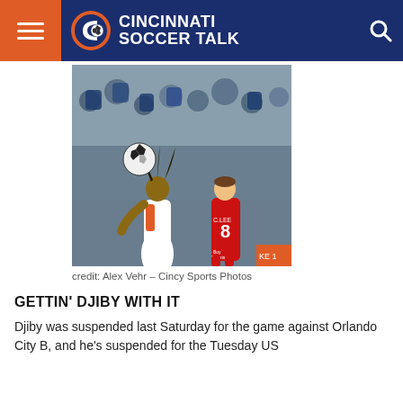Cincinnati Soccer Talk
[Figure (photo): Soccer action photo showing a player in white jersey controlling/heading the ball, challenged by player #8 in red jersey (C. Lee), with crowd in background. Photo credit: Alex Vehr - Cincy Sports Photos]
credit: Alex Vehr – Cincy Sports Photos
GETTIN' DJIBY WITH IT
Djiby was suspended last Saturday for the game against Orlando City B, and he's suspended for the Tuesday US